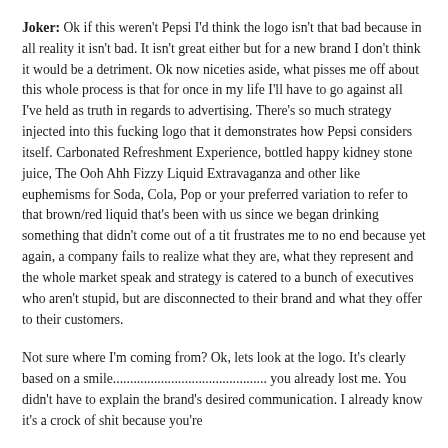Joker: Ok if this weren't Pepsi I'd think the logo isn't that bad because in all reality it isn't bad. It isn't great either but for a new brand I don't think it would be a detriment. Ok now niceties aside, what pisses me off about this whole process is that for once in my life I'll have to go against all I've held as truth in regards to advertising. There's so much strategy injected into this fucking logo that it demonstrates how Pepsi considers itself. Carbonated Refreshment Experience, bottled happy kidney stone juice, The Ooh Ahh Fizzy Liquid Extravaganza and other like euphemisms for Soda, Cola, Pop or your preferred variation to refer to that brown/red liquid that's been with us since we began drinking something that didn't come out of a tit frustrates me to no end because yet again, a company fails to realize what they are, what they represent and the whole market speak and strategy is catered to a bunch of executives who aren't stupid, but are disconnected to their brand and what they offer to their customers.
Not sure where I'm coming from? Ok, lets look at the logo. It's clearly based on a smile............................................. you already lost me. You didn't have to explain the brand's desired communication. I already know it's a crock of shit because you're